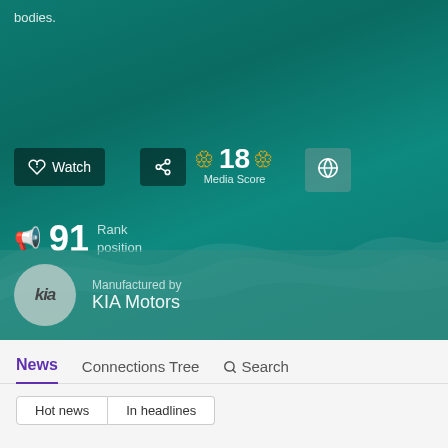bodies.
[Figure (screenshot): KIA Motors entity page with teal/green gradient background showing wave patterns, Watch and Share buttons, Media Score 18 with laurel icons, globe button, Rank position 91 with megaphone icon, and KIA Motors manufacturer section]
News
Connections Tree
Search
Hot news
In headlines